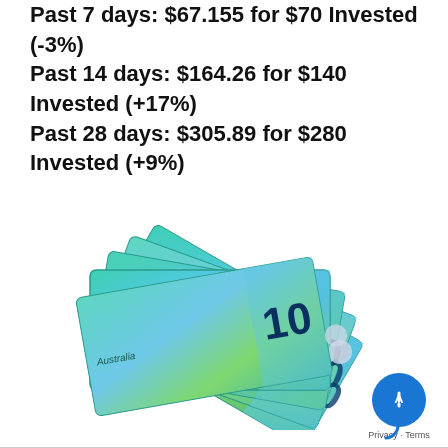Past 7 days: $67.155 for $70 Invested (-3%)
Past 14 days: $164.26 for $140 Invested (+17%)
Past 28 days: $305.89 for $280 Invested (+9%)
[Figure (photo): Fan of multiple Australian $10 polymer banknotes fanned out, showing blue-green color with portrait of man in hat on front]